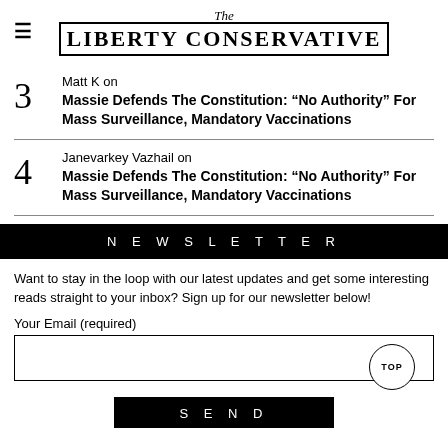The LIBERTY CONSERVATIVE
3  Matt K on  Massie Defends The Constitution: “No Authority” For Mass Surveillance, Mandatory Vaccinations
4  Janevarkey Vazhail on  Massie Defends The Constitution: “No Authority” For Mass Surveillance, Mandatory Vaccinations
N E W S L E T T E R
Want to stay in the loop with our latest updates and get some interesting reads straight to your inbox? Sign up for our newsletter below!
Your Email (required)